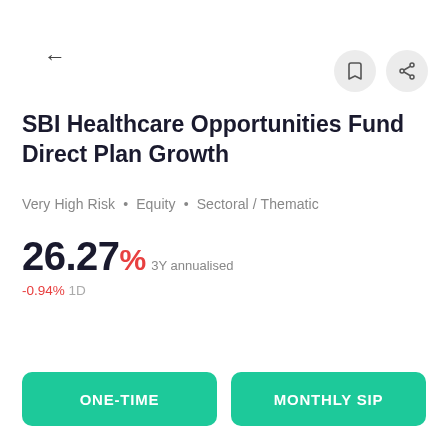SBI Healthcare Opportunities Fund Direct Plan Growth
Very High Risk • Equity • Sectoral / Thematic
26.27% 3Y annualised
-0.94% 1D
ONE-TIME
MONTHLY SIP